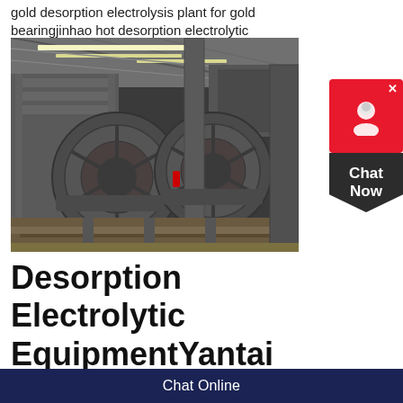gold desorption electrolysis plant for gold bearingjinhao hot desorption electrolytic equipment
[Figure (photo): Industrial mining equipment — two large wheel/drum mechanisms inside a factory/warehouse building with steel frame structure and roof lighting.]
Desorption Electrolytic EquipmentYantai Huali Mining
Chat Online